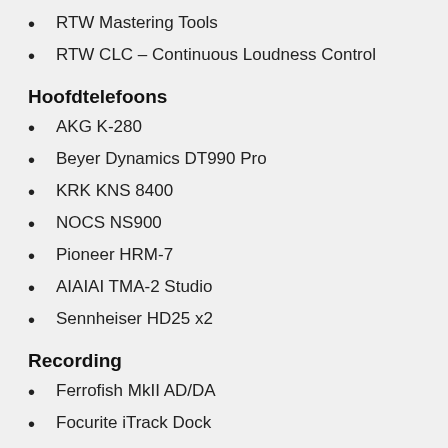RTW Mastering Tools
RTW CLC – Continuous Loudness Control
Hoofdtelefoons
AKG K-280
Beyer Dynamics DT990 Pro
KRK KNS 8400
NOCS NS900
Pioneer HRM-7
AIAIAI TMA-2 Studio
Sennheiser HD25 x2
Recording
Ferrofish MkII AD/DA
Focurite iTrack Dock
IK Multimedia iRig Duo
Mytek 192 DA
Native Instruments Komplete Audio 6